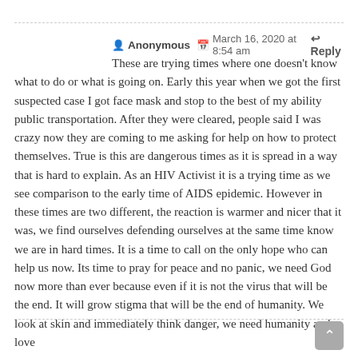Anonymous   March 16, 2020 at 8:54 am   ↩ Reply
These are trying times where one doesn't know what to do or what is going on. Early this year when we got the first suspected case I got face mask and stop to the best of my ability public transportation. After they were cleared, people said I was crazy now they are coming to me asking for help on how to protect themselves. True is this are dangerous times as it is spread in a way that is hard to explain. As an HIV Activist it is a trying time as we see comparison to the early time of AIDS epidemic. However in these times are two different, the reaction is warmer and nicer that it was, we find ourselves defending ourselves at the same time know we are in hard times. It is a time to call on the only hope who can help us now. Its time to pray for peace and no panic, we need God now more than ever because even if it is not the virus that will be the end. It will grow stigma that will be the end of humanity. We look at skin and immediately think danger, we need humanity and love